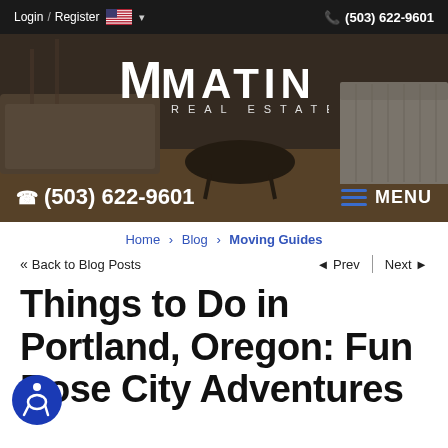Login / Register  🇺🇸  (503) 622-9601
[Figure (screenshot): Matin Real Estate website hero banner with logo, phone number (503) 622-9601, and MENU button over a living room background image]
Home > Blog > Moving Guides
« Back to Blog Posts    ◄ Prev  |  Next ►
Things to Do in Portland, Oregon: Fun Rose City Adventures